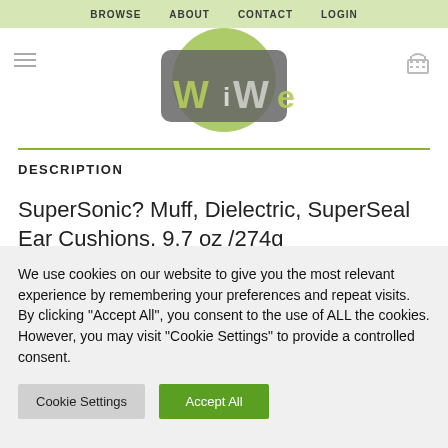BROWSE   ABOUT   CONTACT   LOGIN
[Figure (logo): WiWe website logo with stylized green and grey lettering on rounded rectangle background]
DESCRIPTION
SuperSonic? Muff, Dielectric, SuperSeal Ear Cushions, 9.7 oz /274g
We use cookies on our website to give you the most relevant experience by remembering your preferences and repeat visits. By clicking "Accept All", you consent to the use of ALL the cookies. However, you may visit "Cookie Settings" to provide a controlled consent.